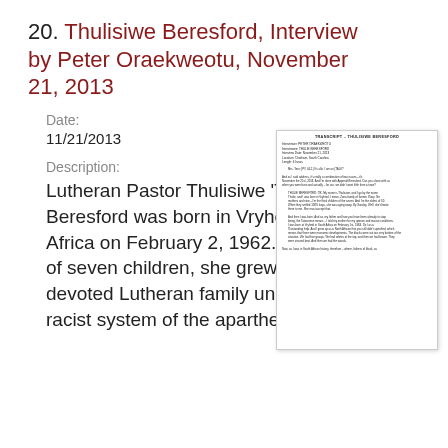20. Thulisiwe Beresford, Interview by Peter Oraekweotu, November 21, 2013
Date:
11/21/2013
Description:
Lutheran Pastor Thulisiwe 'Thulie' Beresford was born in Vryheid, South Africa on February 2, 1962. The third of seven children, she grew up in a devoted Lutheran family under the racist system of the apartheid. At age
[Figure (other): Thumbnail image of a transcript document titled 'TRANSCRIPT - THULISIWE BERESFORD' with interview metadata and body text]